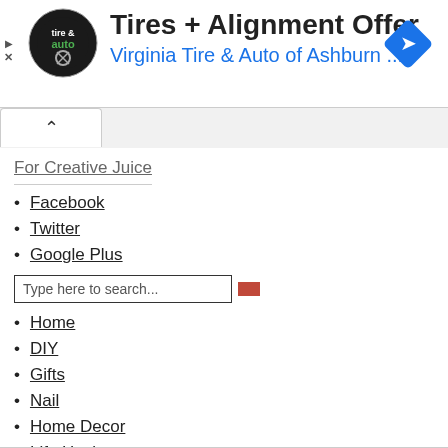[Figure (infographic): Advertisement banner for Virginia Tire & Auto of Ashburn with logo, title 'Tires + Alignment Offer', subtitle 'Virginia Tire & Auto of Ashburn ...', and a blue diamond navigation icon on the right.]
For Creative Juice
Facebook
Twitter
Google Plus
Type here to search...
Home
DIY
Gifts
Nail
Home Decor
Life Hacks
Hairstyles
Tattoo